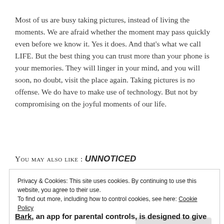Most of us are busy taking pictures, instead of living the moments. We are afraid whether the moment may pass quickly even before we know it. Yes it does. And that's what we call LIFE. But the best thing you can trust more than your phone is your memories. They will linger in your mind, and you will soon, no doubt, visit the place again. Taking pictures is no offense. We do have to make use of technology. But not by compromising on the joyful moments of our life.
YOU MAY ALSO LIKE : UNNOTICED
Privacy & Cookies: This site uses cookies. By continuing to use this website, you agree to their use.
To find out more, including how to control cookies, see here: Cookie Policy
Close and accept
Bark, an app for parental controls, is designed to give